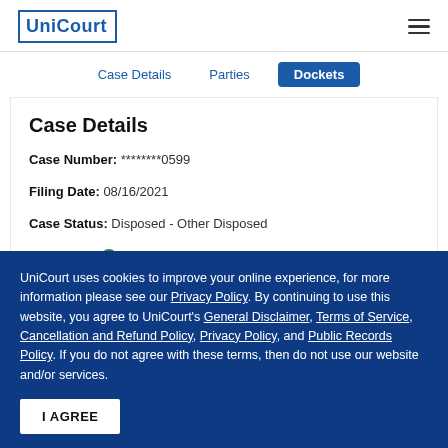UniCourt
Case Details | Parties | Dockets
Case Details
Case Number: ********0599
Filing Date: 08/16/2021
Case Status: Disposed - Other Disposed
Case Type: Small Claim - Debt Collection
UniCourt uses cookies to improve your online experience, for more information please see our Privacy Policy. By continuing to use this website, you agree to UniCourt's General Disclaimer, Terms of Service, Cancellation and Refund Policy, Privacy Policy, and Public Records Policy. If you do not agree with these terms, then do not use our website and/or services.
I AGREE